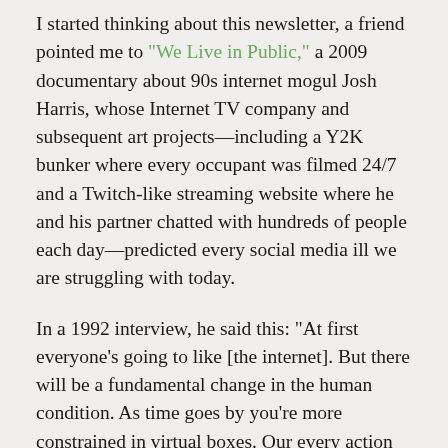I started thinking about this newsletter, a friend pointed me to "We Live in Public," a 2009 documentary about 90s internet mogul Josh Harris, whose Internet TV company and subsequent art projects—including a Y2K bunker where every occupant was filmed 24/7 and a Twitch-like streaming website where he and his partner chatted with hundreds of people each day—predicted every social media ill we are struggling with today.
In a 1992 interview, he said this: "At first everyone's going to like [the internet]. But there will be a fundamental change in the human condition. As time goes by you're more constrained in virtual boxes. Our every action will be counted. One day we're going to wake up and realize we're